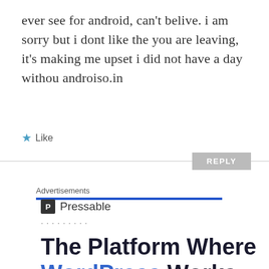ever see for android, can't belive. i am sorry but i dont like the you are leaving, it's making me upset i did not have a day withou androiso.in
★ Like
REPLY
Advertisements
[Figure (logo): Pressable logo: dark square icon with letter P and text 'Pressable']
·········
The Platform Where WordPress Works Best